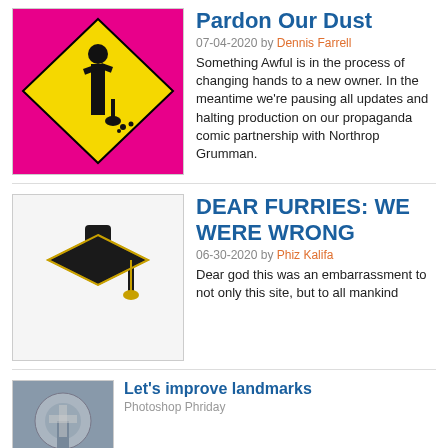Pardon Our Dust
07-04-2020 by Dennis Farrell
Something Awful is in the process of changing hands to a new owner. In the meantime we're pausing all updates and halting production on our propaganda comic partnership with Northrop Grumman.
DEAR FURRIES: WE WERE WRONG
06-30-2020 by Phiz Kalifa
Dear god this was an embarrassment to not only this site, but to all mankind
Let's improve landmarks
Photoshop Phriday
Landmarks and statues around the world: old, boring and could use an update.
Make Horror Wholesome
Photoshop Phriday
Join the SA Forum photoshop goons in their quest to make horror wholesome!
Every Conceivable Way EA Could Screw Up Star Wars: Squadrons
Video Game Article
Yes, there are finally enough games for a new round of One Sentence Reviews